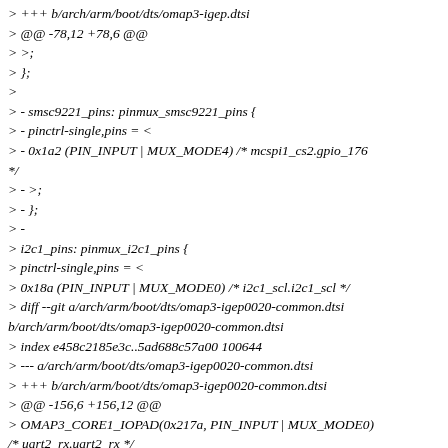> +++ b/arch/arm/boot/dts/omap3-igep.dtsi
> @@ -78,12 +78,6 @@
> >;
> };
>
> - smsc9221_pins: pinmux_smsc9221_pins {
> - pinctrl-single,pins = <
> - 0x1a2 (PIN_INPUT | MUX_MODE4) /* mcspi1_cs2.gpio_176 */
> - >;
> - };
> -
> i2c1_pins: pinmux_i2c1_pins {
> pinctrl-single,pins = <
> 0x18a (PIN_INPUT | MUX_MODE0) /* i2c1_scl.i2c1_scl */
> diff --git a/arch/arm/boot/dts/omap3-igep0020-common.dtsi b/arch/arm/boot/dts/omap3-igep0020-common.dtsi
> index e458c2185e3c..5ad688c57a00 100644
> --- a/arch/arm/boot/dts/omap3-igep0020-common.dtsi
> +++ b/arch/arm/boot/dts/omap3-igep0020-common.dtsi
> @@ -156,6 +156,12 @@
> OMAP3_CORE1_IOPAD(0x217a, PIN_INPUT | MUX_MODE0) /* uart2_rx.uart2_rx */
> >;
> };
> +